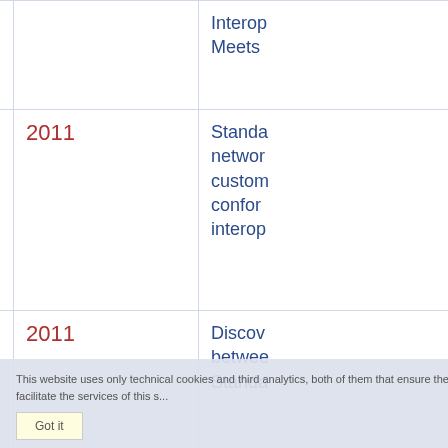|  | Year | Title |
| --- | --- | --- |
|  |  | Interop... Meets... |
|  | 2011 | Standa... network... custom... confor... interop... |
|  | 2011 | Discov... betwee... Standa... |
|  | 2011 | Trends... interop... perspe... Resea... |
|  | 2010 | An env... busine... profilin... Challen... |
|  | 2010 | Standa... SME n... |
This website uses only technical cookies and third analytics, both of them that ensure the activities of these web pages and to facilitate the services of this site.